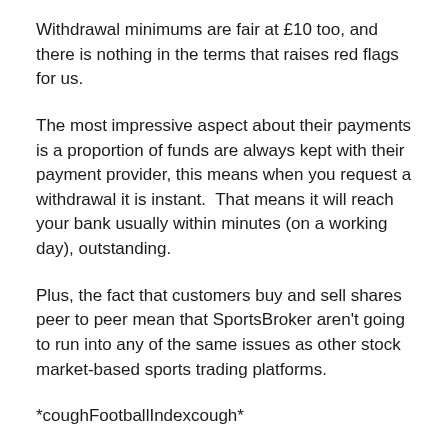Withdrawal minimums are fair at £10 too, and there is nothing in the terms that raises red flags for us.
The most impressive aspect about their payments is a proportion of funds are always kept with their payment provider, this means when you request a withdrawal it is instant.  That means it will reach your bank usually within minutes (on a working day), outstanding.
Plus, the fact that customers buy and sell shares peer to peer mean that SportsBroker aren't going to run into any of the same issues as other stock market-based sports trading platforms.
*coughFootballIndexcough*